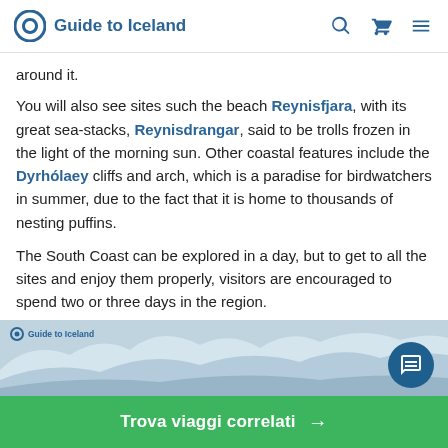Guide to Iceland
around it.
You will also see sites such the beach Reynisfjara, with its great sea-stacks, Reynisdrangar, said to be trolls frozen in the light of the morning sun. Other coastal features include the Dyrhólaey cliffs and arch, which is a paradise for birdwatchers in summer, due to the fact that it is home to thousands of nesting puffins.
The South Coast can be explored in a day, but to get to all the sites and enjoy them properly, visitors are encouraged to spend two or three days in the region.
[Figure (photo): Snowy coastal landscape photo with Guide to Iceland watermark]
Trova viaggi correlati →